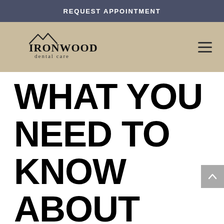REQUEST APPOINTMENT
[Figure (logo): Ironwood Dental Care logo with mountain silhouette above the text IRONWOOD dental care]
WHAT YOU NEED TO KNOW ABOUT BRACES
by Ironwood Dental Care | Dec 12, 2021 |